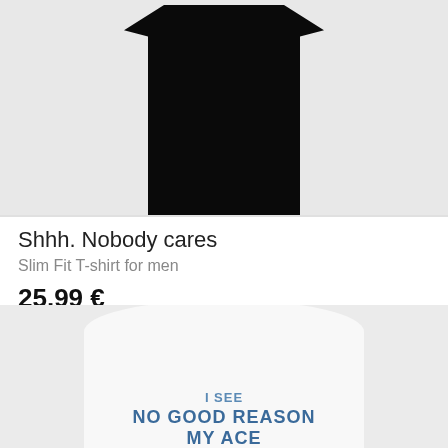[Figure (photo): Black slim fit t-shirt shown from front, displayed on light gray background]
Shhh. Nobody cares
Slim Fit T-shirt for men
25.99 €
[Figure (photo): White sweatshirt shown from back with blue text reading 'I SEE NO GOOD REASON MY ACE' on light gray background]